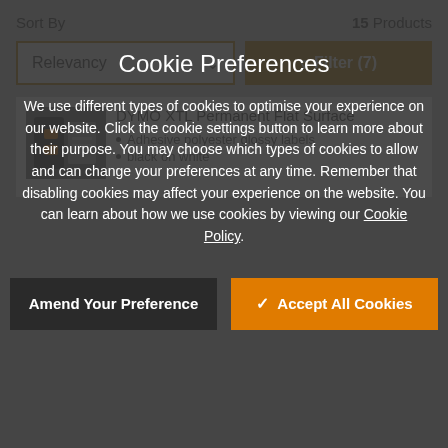Sort By
15 Products
Relevancy
Filter (7)
DYMO XTL Permanent Flat Surface
Adhesive polyester glossy labels
black on white
Cookie Preferences
We use different types of cookies to optimise your experience on our website. Click the cookie settings button to learn more about their purpose. You may choose which types of cookies to allow and can change your preferences at any time. Remember that disabling cookies may affect your experience on the website. You can learn about how we use cookies by viewing our Cookie Policy.
Amend Your Preference
Accept All Cookies